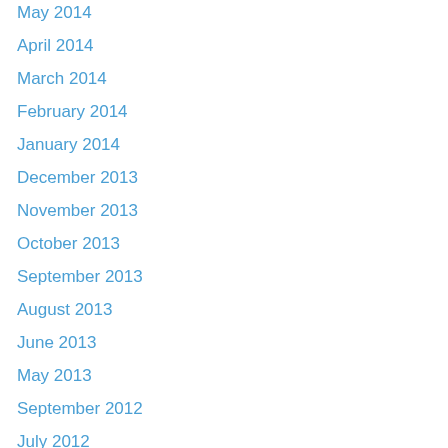May 2014
April 2014
March 2014
February 2014
January 2014
December 2013
November 2013
October 2013
September 2013
August 2013
June 2013
May 2013
September 2012
July 2012
June 2012
March 2012
February 2012
January 2012
December 2011
November 2011